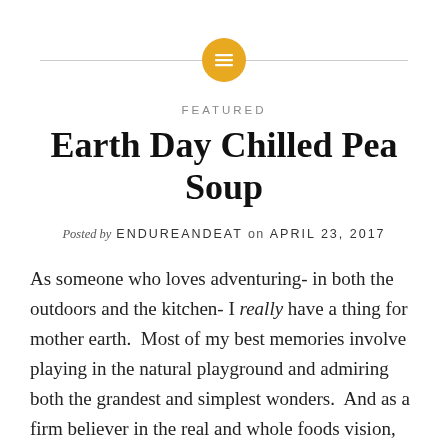[Figure (logo): Gold circular icon with a horizontal lines/menu symbol, centered on a horizontal gray line acting as a decorative header divider]
FEATURED
Earth Day Chilled Pea Soup
Posted by ENDUREANDEAT on APRIL 23, 2017
As someone who loves adventuring- in both the outdoors and the kitchen- I really have a thing for mother earth.  Most of my best memories involve playing in the natural playground and admiring both the grandest and simplest wonders.  And as a firm believer in the real and whole foods vision, I've really